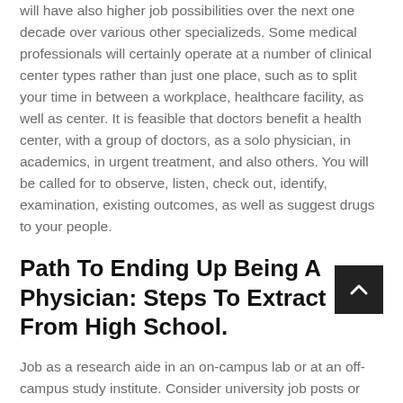will have also higher job possibilities over the next one decade over various other specializeds. Some medical professionals will certainly operate at a number of clinical center types rather than just one place, such as to split your time in between a workplace, healthcare facility, as well as center. It is feasible that doctors benefit a health center, with a group of doctors, as a solo physician, in academics, in urgent treatment, and also others. You will be called for to observe, listen, check out, identify, examination, existing outcomes, as well as suggest drugs to your people.
Path To Ending Up Being A Physician: Steps To Extract From High School.
Job as a research aide in an on-campus lab or at an off-campus study institute. Consider university job posts or